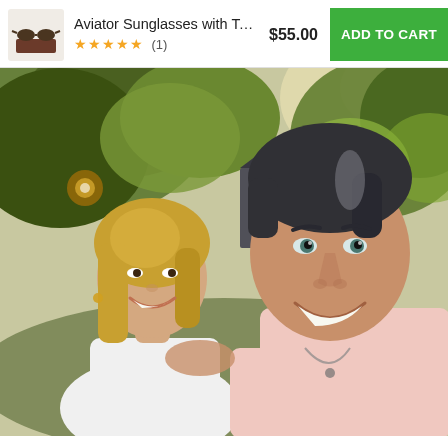Aviator Sunglasses with Tortoi… $55.00 ADD TO CART ★★★★★ (1)
[Figure (photo): Outdoor selfie of two smiling people — a blonde woman in a white top and a man in a pink shirt — standing together in front of trees and a house, sunny day.]